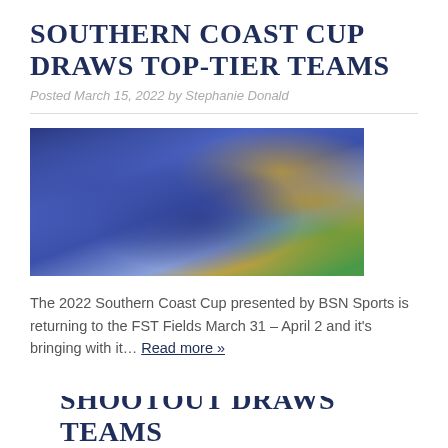Southern Coast Cup Draws Top-Tier Teams
Posted March 15, 2022 by Stephanie Donald
[Figure (photo): Blue trophies and medals with ribbons for the Southern Coast Cup soccer tournament]
The 2022 Southern Coast Cup presented by BSN Sports is returning to the FST Fields March 31 – April 2 and it's bringing with it… Read more »
Shootout Draws Teams